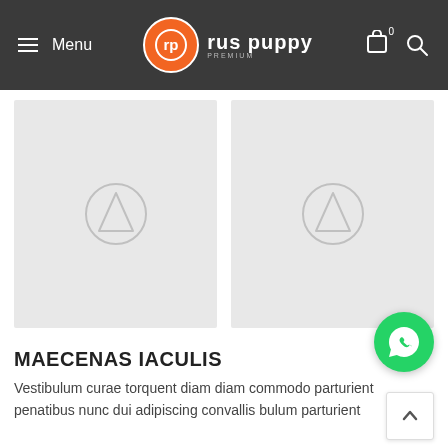Menu | Rus Puppy | [cart icon] 0 [search icon]
[Figure (photo): Two placeholder image tiles side by side with upload/image icon]
MAECENAS IACULIS
Vestibulum curae torquent diam diam commodo parturient penatibus nunc dui adipiscing convallis bulum parturient ...